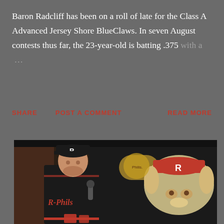Baron Radcliff has been on a roll of late for the Class A Advanced Jersey Shore BlueClaws. In seven August contests thus far, the 23-year-old is batting .375 with a ...
SHARE   POST A COMMENT   READ MORE
[Figure (photo): A baseball player wearing a dark Reading Fightin Phils uniform and black cap with R logo, standing in front of a mural of a cartoon dog wearing a red R cap, with a brick wall background.]